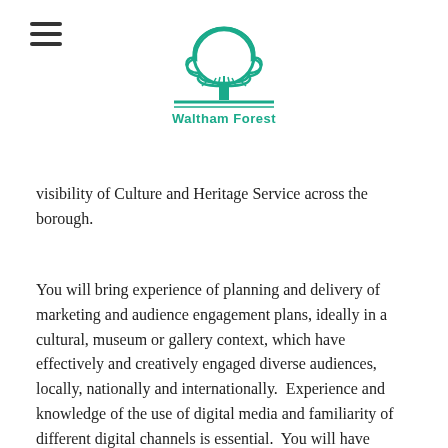[Figure (logo): Waltham Forest council logo: a teal/green tree above a horizontal line with the text 'Waltham Forest' below in teal]
visibility of Culture and Heritage Service across the borough.
You will bring experience of planning and delivery of marketing and audience engagement plans, ideally in a cultural, museum or gallery context, which have effectively and creatively engaged diverse audiences, locally, nationally and internationally.  Experience and knowledge of the use of digital media and familiarity of different digital channels is essential.  You will have excellent organisational skills and the ability to operate to tight deadlines in highly pressured